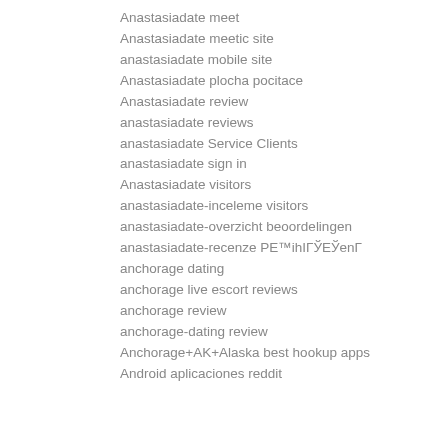Anastasiadate meet
Anastasiadate meetic site
anastasiadate mobile site
Anastasiadate plocha pocitace
Anastasiadate review
anastasiadate reviews
anastasiadate Service Clients
anastasiadate sign in
Anastasiadate visitors
anastasiadate-inceleme visitors
anastasiadate-overzicht beoordelingen
anastasiadate-recenze РЕ™ihIГЎЕЎenГ
anchorage dating
anchorage live escort reviews
anchorage review
anchorage-dating review
Anchorage+AK+Alaska best hookup apps
Android aplicaciones reddit